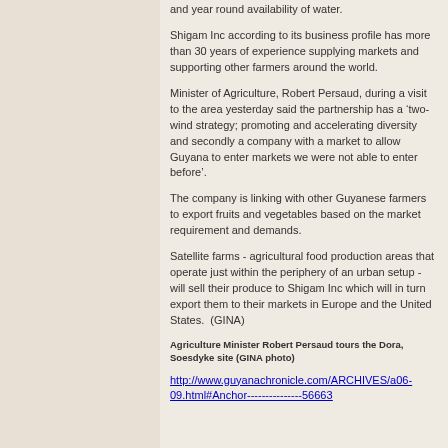and year round availability of water.
Shigam Inc according to its business profile has more than 30 years of experience supplying markets and supporting other farmers around the world.
Minister of Agriculture, Robert Persaud, during a visit to the area yesterday said the partnership has a ‘two-wind strategy; promoting and accelerating diversity and secondly a company with a market to allow Guyana to enter markets we were not able to enter before’.
The company is linking with other Guyanese farmers to export fruits and vegetables based on the market requirement and demands.
Satellite farms - agricultural food production areas that operate just within the periphery of an urban setup - will sell their produce to Shigam Inc which will in turn export them to their markets in Europe and the United States.  (GINA)
Agriculture Minister Robert Persaud tours the Dora, Soesdyke site (GINA photo)
http://www.guyanachronicle.com/ARCHIVES/a06-09.html#Anchor---------------56663